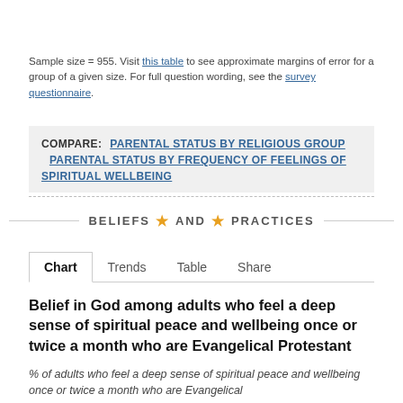Sample size = 955. Visit this table to see approximate margins of error for a group of a given size. For full question wording, see the survey questionnaire.
COMPARE: PARENTAL STATUS BY RELIGIOUS GROUP   PARENTAL STATUS BY FREQUENCY OF FEELINGS OF SPIRITUAL WELLBEING
BELIEFS ★ AND ★ PRACTICES
Chart   Trends   Table   Share
Belief in God among adults who feel a deep sense of spiritual peace and wellbeing once or twice a month who are Evangelical Protestant
% of adults who feel a deep sense of spiritual peace and wellbeing once or twice a month who are Evangelical